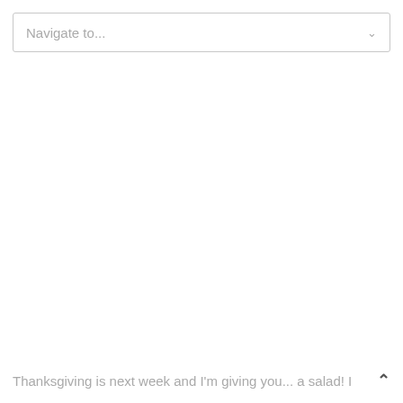Navigate to...
Thanksgiving is next week and I'm giving you... a salad! I ∧